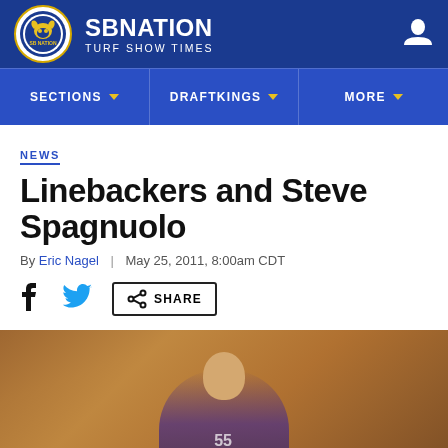SB Nation - Turf Show Times
SECTIONS | DRAFTKINGS | MORE
NEWS
Linebackers and Steve Spagnuolo
By Eric Nagel | May 25, 2011, 8:00am CDT
Share
[Figure (photo): Football player in uniform shouting, wearing number 55 jersey, blurred background]